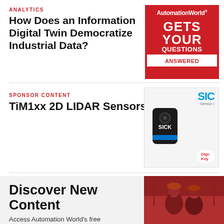ANALYTICS
How Does an Information Digital Twin Democratize Industrial Data?
[Figure (logo): AutomationWorld Gets Your Questions Answered red advertisement box]
SPONSOR CONTENT
TiM1xx 2D LIDAR Sensors
[Figure (photo): SICK TiM1xx 2D LIDAR sensor product image with SICK and Digi-Key logos]
Discover New Content
Access Automation World's free educational content
[Figure (photo): Industrial workers in orange hard hats in a factory setting with red overlay]